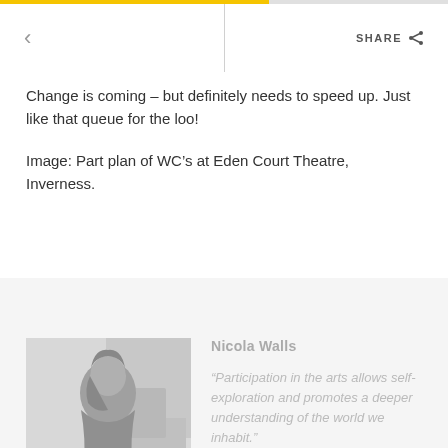< SHARE
Change is coming – but definitely needs to speed up. Just like that queue for the loo!
Image: Part plan of WC's at Eden Court Theatre, Inverness.
[Figure (photo): Profile photo of a woman (Nicola Walls) sitting at a desk with a computer monitor in the background, in greyscale]
Nicola Walls
“Participation in the arts allows self-exploration and promotes a deeper understanding of the world we inhabit.”